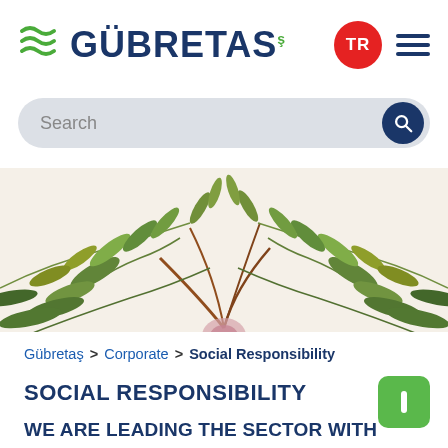GÜBRESTAŞ — TR — hamburger menu — Search bar
[Figure (illustration): Decorative botanical illustration of green plant fronds/branches with reddish stems spreading across the full width of the image.]
Gübretaş > Corporate > Social Responsibility
SOCIAL RESPONSIBILITY
WE ARE LEADING THE SECTOR WITH OUR SOCIAL RESPONSIBILITY PROJECTS